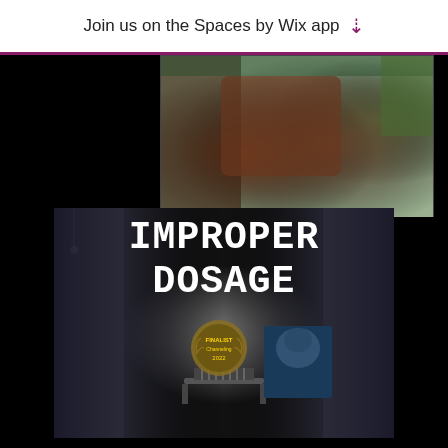Join us on the Spaces by Wix app ↓
[Figure (photo): Partial view of a person reclining, cropped image showing arms and clothing in warm brown and green tones]
[Figure (photo): Movie poster for 'IMPROPER DOSAGE' showing a dark institutional corridor with a hospital bed in the distance, a laurel wreath festival badge, and a person's face in blue tones in the corner]